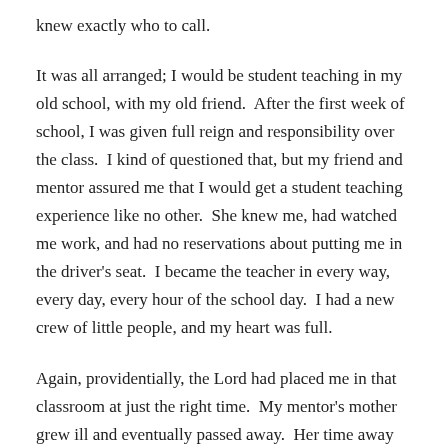knew exactly who to call.
It was all arranged; I would be student teaching in my old school, with my old friend.  After the first week of school, I was given full reign and responsibility over the class.  I kind of questioned that, but my friend and mentor assured me that I would get a student teaching experience like no other.  She knew me, had watched me work, and had no reservations about putting me in the driver's seat.  I became the teacher in every way, every day, every hour of the school day.  I had a new crew of little people, and my heart was full.
Again, providentially, the Lord had placed me in that classroom at just the right time.  My mentor's mother grew ill and eventually passed away.  Her time away from the classroom was significant.  I was literally handed the reins of the classroom and was flying solo.  I approached my principal and questioned if I should be on